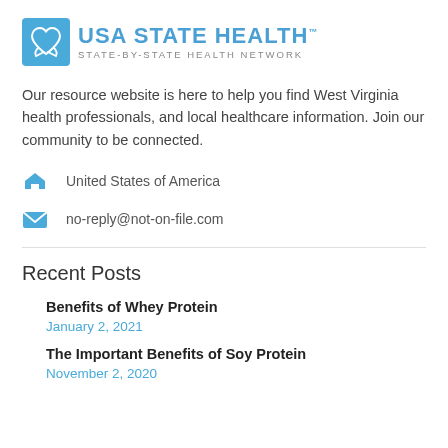[Figure (logo): USA State Health logo — blue square icon with heart and hands, text 'USA STATE HEALTH' in blue, subtitle 'STATE-BY-STATE HEALTH NETWORK' in grey]
Our resource website is here to help you find West Virginia health professionals, and local healthcare information. Join our community to be connected.
United States of America
no-reply@not-on-file.com
Recent Posts
Benefits of Whey Protein
January 2, 2021
The Important Benefits of Soy Protein
November 2, 2020